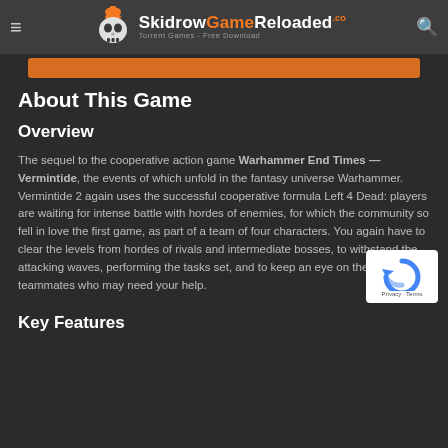SkidrowGameReloaded — Torrent Games - Free Download
About This Game
Overview
The sequel to the cooperative action game Warhammer End Times — Vermintide, the events of which unfold in the fantasy universe Warhammer. Vermintide 2 again uses the successful cooperative formula Left 4 Dead: players are waiting for intense battle with hordes of enemies, for which the community so fell in love the first game, as part of a team of four characters. You again have to clear the levels from hordes of rivals and intermediate bosses, to withstand the attacking waves, performing the tasks set, and to keep an eye on the position of teammates who may need your help.
Key Features